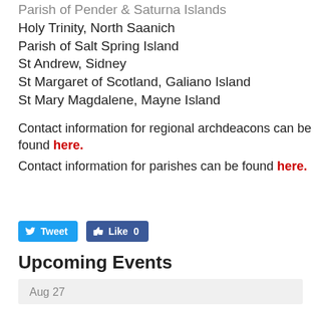Parish of Pender & Saturna Islands
Holy Trinity, North Saanich
Parish of Salt Spring Island
St Andrew, Sidney
St Margaret of Scotland, Galiano Island
St Mary Magdalene, Mayne Island
Contact information for regional archdeacons can be found here.
Contact information for parishes can be found here.
[Figure (other): Twitter Tweet button and Facebook Like button (Like 0)]
Upcoming Events
Aug 27